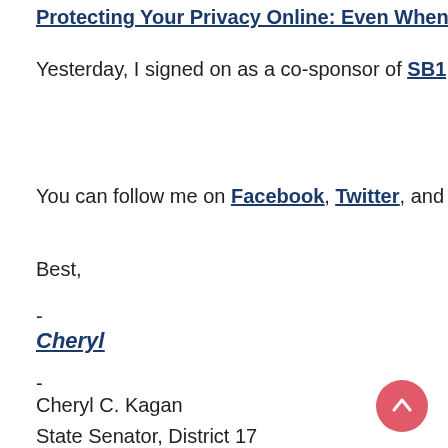Protecting Your Privacy Online: Even When Congress...
Yesterday, I signed on as a co-sponsor of SB1200, the Inte...
You can follow me on Facebook, Twitter, and Instagram...
Best,
-
Cheryl
-
Cheryl C. Kagan
State Senator, District 17
Rockville & Gaithersburg
Cheryl.Kagan@Senate.state.md.us
301/858-3134